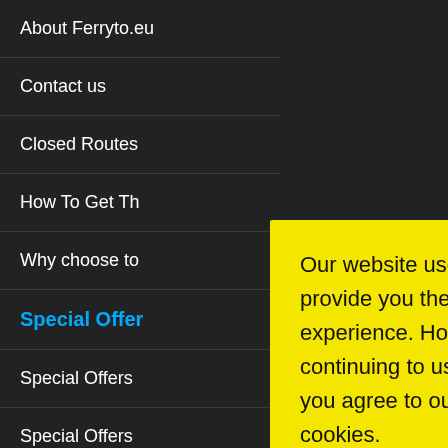About Ferryto.eu
Contact us
Closed Routes
How To Get Th…
Why choose to…
Special Offe… (header)
Special Offers
Special Offers
Special Offers
Special Offers from Stena Line…
[Figure (screenshot): Yellow cookie consent popup overlay with text 'Our website uses cookies to provide you the best experience. However, by continuing to use our website, you agree to our use of cookies.' and a black Accept button]